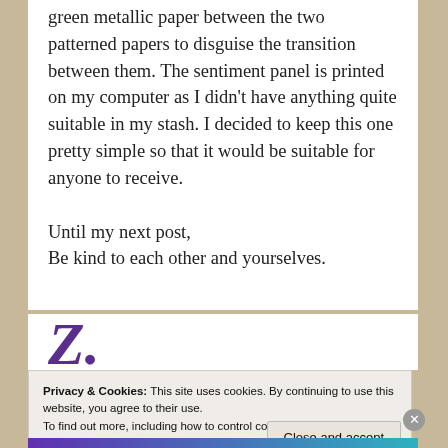green metallic paper between the two patterned papers to disguise the transition between them. The sentiment panel is printed on my computer as I didn't have anything quite suitable in my stash. I decided to keep this one pretty simple so that it would be suitable for anyone to receive.

Until my next post,
Be kind to each other and yourselves.
[Figure (illustration): Partial signature or decorative script in purple/violet colour, partially visible]
Privacy & Cookies: This site uses cookies. By continuing to use this website, you agree to their use.
To find out more, including how to control cookies, see here:
Cookie Policy
Close and accept